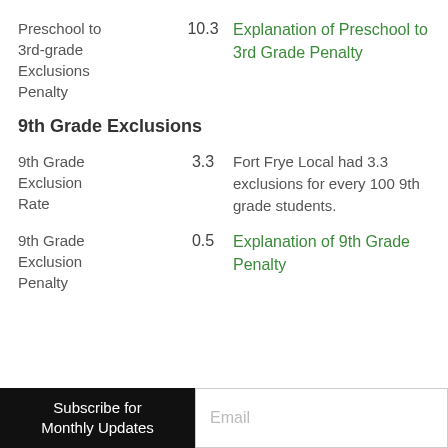Preschool to 3rd-grade Exclusions Penalty
10.3
Explanation of Preschool to 3rd Grade Penalty
9th Grade Exclusions
9th Grade Exclusion Rate
3.3
Fort Frye Local had 3.3 exclusions for every 100 9th grade students.
9th Grade Exclusion Penalty
0.5
Explanation of 9th Grade Penalty
Subscribe for Monthly Updates
Email